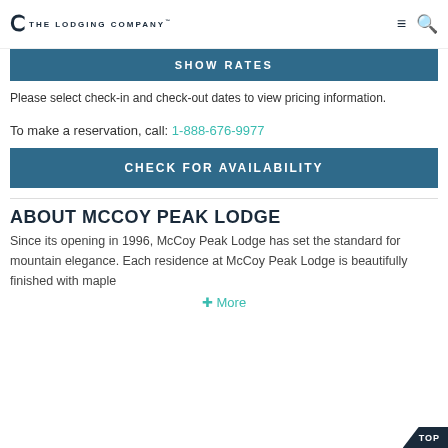The Lodging Company
SHOW RATES
Please select check-in and check-out dates to view pricing information.
To make a reservation, call: 1-888-676-9977
CHECK FOR AVAILABILITY
ABOUT MCCOY PEAK LODGE
Since its opening in 1996, McCoy Peak Lodge has set the standard for mountain elegance. Each residence at McCoy Peak Lodge is beautifully finished with maple
+ More